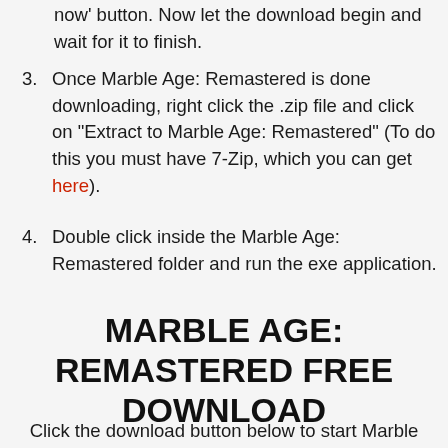now' button. Now let the download begin and wait for it to finish.
3. Once Marble Age: Remastered is done downloading, right click the .zip file and click on "Extract to Marble Age: Remastered" (To do this you must have 7-Zip, which you can get here).
4. Double click inside the Marble Age: Remastered folder and run the exe application.
5. Have fun and play! Make sure to run the game as administrator and if you get any missing dll errors, look for a Redist or _CommonRedist folder and install all the programs in the folder.
MARBLE AGE: REMASTERED FREE DOWNLOAD
Click the download button below to start Marble Age: